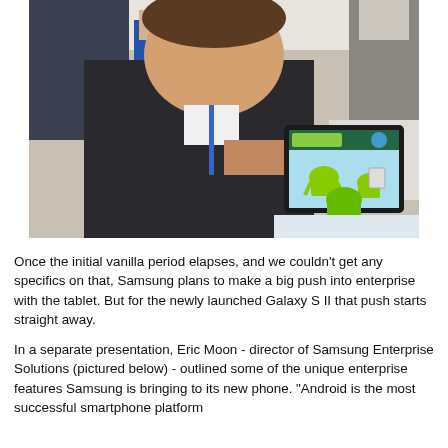[Figure (photo): A man in a dark suit holding a Samsung tablet showing Android robot characters on screen, at what appears to be a Samsung trade show or exhibit. Other people visible in background.]
Once the initial vanilla period elapses, and we couldn't get any specifics on that, Samsung plans to make a big push into enterprise with the tablet. But for the newly launched Galaxy S II that push starts straight away.
In a separate presentation, Eric Moon - director of Samsung Enterprise Solutions (pictured below) - outlined some of the unique enterprise features Samsung is bringing to its new phone. "Android is the most successful smartphone platform